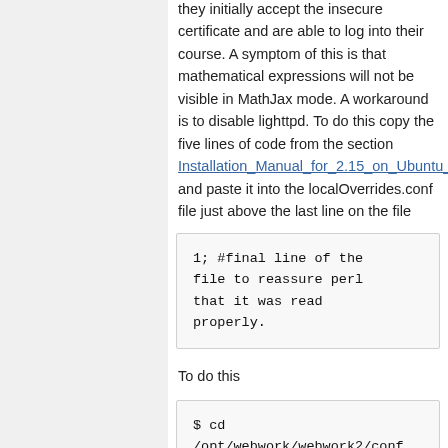they initially accept the insecure certificate and are able to log into their course. A symptom of this is that mathematical expressions will not be visible in MathJax mode. A workaround is to disable lighttpd. To do this copy the five lines of code from the section Installation_Manual_for_2.15_on_Ubuntu_2 and paste it into the localOverrides.conf file just above the last line on the file
1; #final line of the file to reassure perl that it was read properly.
To do this
$ cd /opt/webwork/webwork2/conf